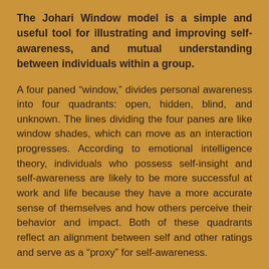The Johari Window model is a simple and useful tool for illustrating and improving self-awareness, and mutual understanding between individuals within a group.
A four paned “window,” divides personal awareness into four quadrants: open, hidden, blind, and unknown. The lines dividing the four panes are like window shades, which can move as an interaction progresses. According to emotional intelligence theory, individuals who possess self-insight and self-awareness are likely to be more successful at work and life because they have a more accurate sense of themselves and how others perceive their behavior and impact. Both of these quadrants reflect an alignment between self and other ratings and serve as a “proxy” for self-awareness.
<